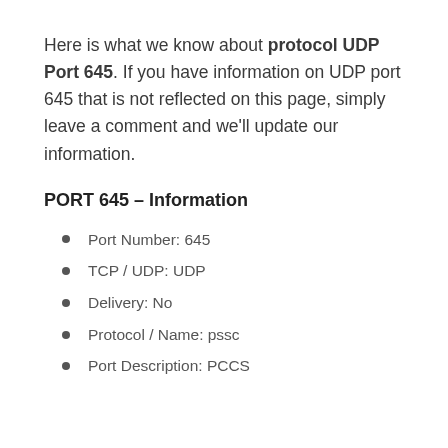Here is what we know about protocol UDP Port 645. If you have information on UDP port 645 that is not reflected on this page, simply leave a comment and we'll update our information.
PORT 645 – Information
Port Number: 645
TCP / UDP: UDP
Delivery: No
Protocol / Name: pssc
Port Description: PCCS